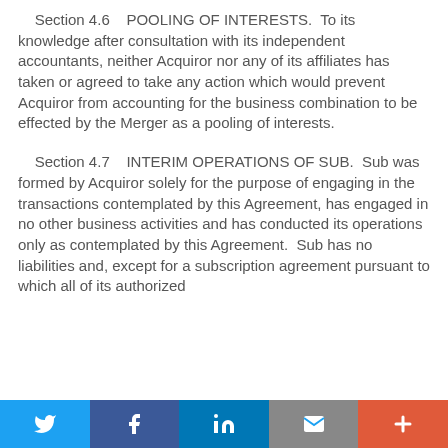Section 4.6    POOLING OF INTERESTS.  To its knowledge after consultation with its independent accountants, neither Acquiror nor any of its affiliates has taken or agreed to take any action which would prevent Acquiror from accounting for the business combination to be effected by the Merger as a pooling of interests.
Section 4.7    INTERIM OPERATIONS OF SUB.  Sub was formed by Acquiror solely for the purpose of engaging in the transactions contemplated by this Agreement, has engaged in no other business activities and has conducted its operations only as contemplated by this Agreement.  Sub has no liabilities and, except for a subscription agreement pursuant to which all of its authorized